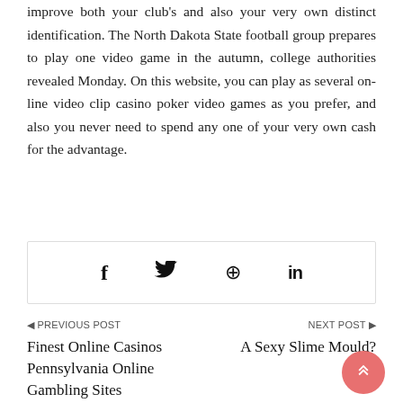improve both your club's and also your very own distinct identification. The North Dakota State football group prepares to play one video game in the autumn, college authorities revealed Monday. On this website, you can play as several on-line video clip casino poker video games as you prefer, and also you never need to spend any one of your very own cash for the advantage.
[Figure (other): Social share icons row: Facebook (f), Twitter (bird), Pinterest (p), LinkedIn (in)]
PREVIOUS POST
Finest Online Casinos Pennsylvania Online Gambling Sites
NEXT POST
A Sexy Slime Mould?